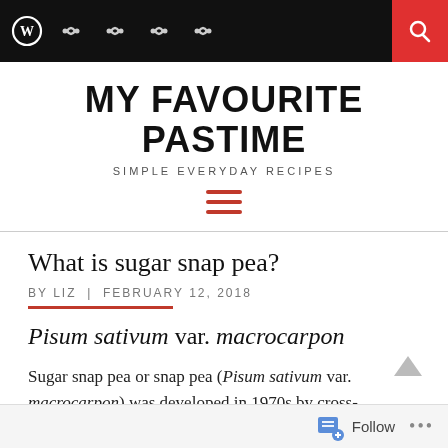MY FAVOURITE PASTIME — SIMPLE EVERYDAY RECIPES
What is sugar snap pea?
BY LIZ | FEBRUARY 12, 2018
Pisum sativum var. macrocarpon
Sugar snap pea or snap pea (Pisum sativum var. macrocarpon) was developed in 1970s by cross-